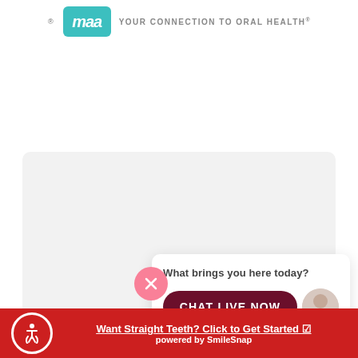[Figure (logo): maa logo with teal rounded rectangle and tagline YOUR CONNECTION TO ORAL HEALTH]
[Figure (screenshot): Large light gray rounded card representing a content area]
[Figure (other): Pink circular close/X button]
[Figure (screenshot): Chat popup with 'What brings you here today?' text, dark red CHAT LIVE NOW button, and agent avatar photo]
What brings you here today?
CHAT LIVE NOW
[Figure (other): Bottom red accessibility bar with wheelchair icon, 'Want Straight Teeth? Click to Get Started' link, and 'powered by SmileSnap' text]